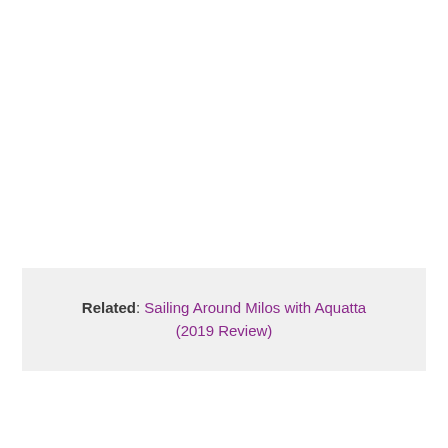Related: Sailing Around Milos with Aquatta (2019 Review)